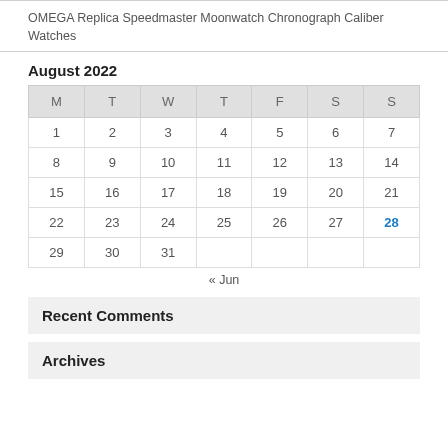OMEGA Replica Speedmaster Moonwatch Chronograph Caliber Watches
August 2022
| M | T | W | T | F | S | S |
| --- | --- | --- | --- | --- | --- | --- |
| 1 | 2 | 3 | 4 | 5 | 6 | 7 |
| 8 | 9 | 10 | 11 | 12 | 13 | 14 |
| 15 | 16 | 17 | 18 | 19 | 20 | 21 |
| 22 | 23 | 24 | 25 | 26 | 27 | 28 |
| 29 | 30 | 31 |  |  |  |  |
« Jun
Recent Comments
Archives